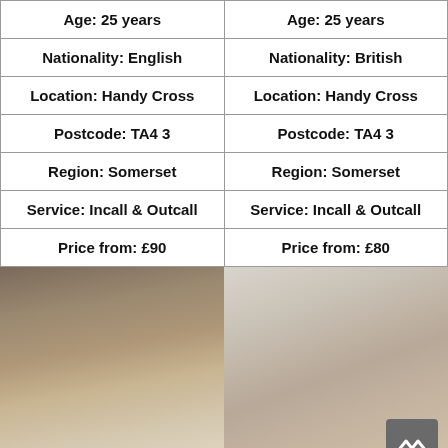| Age: 25 years | Age: 25 years |
| Nationality: English | Nationality: British |
| Location: Handy Cross | Location: Handy Cross |
| Postcode: TA4 3 | Postcode: TA4 3 |
| Region: Somerset | Region: Somerset |
| Service: Incall & Outcall | Service: Incall & Outcall |
| Price from: £90 | Price from: £80 |
[Figure (photo): Two side-by-side photos of young women]
[Figure (other): Scroll-to-top button with chevron icon, bottom-right corner]